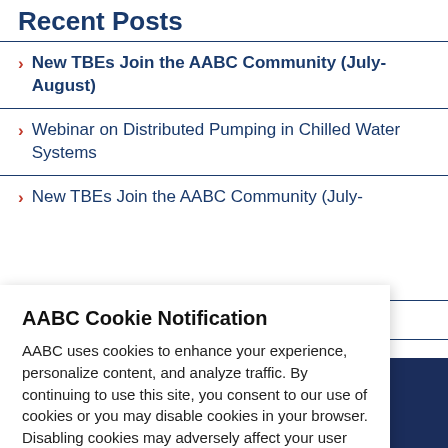Recent Posts
New TBEs Join the AABC Community (July-August)
Webinar on Distributed Pumping in Chilled Water Systems
New TBEs Join the AABC Community (July-
ity (May-
hanges
in
AABC Cookie Notification
AABC uses cookies to enhance your experience, personalize content, and analyze traffic. By continuing to use this site, you consent to our use of cookies or you may disable cookies in your browser. Disabling cookies may adversely affect your user experience on our website.
Agree   Privacy Policy